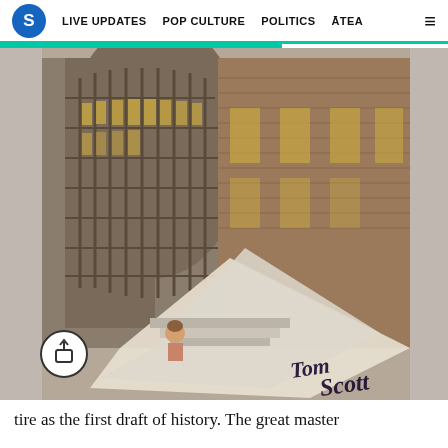S  LIVE UPDATES  POP CULTURE  POLITICS  ĀTEA  ☰
[Figure (photo): Album cover art showing a brick and timber building with staircases and archways, with a figure in the lower area, signed 'Tom Scott' in black ink at the bottom right. A share/export button icon is overlaid at the bottom left.]
tire as the first draft of history. The great master